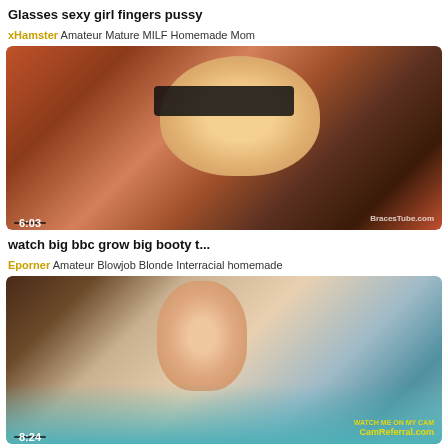Glasses sexy girl fingers pussy
xHamster Amateur Mature MILF Homemade Mom
[Figure (photo): Video thumbnail showing close-up of woman with glasses and tattoos, warm orange/red tones. Duration overlay: 6:03. Watermark: BracesTube.com]
watch big bbc grow big booty t...
Eporner Amateur Blowjob Blonde Interracial homemade
[Figure (photo): Video thumbnail showing woman with short hair and glasses wearing dark lingerie on bed with blue sheets. Duration overlay: 8:24. Watermark: CamReferral.com]